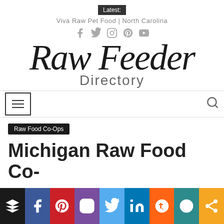Latest: Viva Raw Pet Food | North Carolina
[Figure (logo): Raw Feeder Directory logo with script font 'Raw Feeder' and sans-serif 'Directory' below]
[Figure (infographic): Navigation bar with hamburger menu icon on left and search icon on right]
Raw Food Co-Ops
Michigan Raw Food Co-
[Figure (infographic): Social share bar with icons: layers/stack, Facebook, Pinterest, Instagram, Twitter, LinkedIn, Reddit, MW, share]